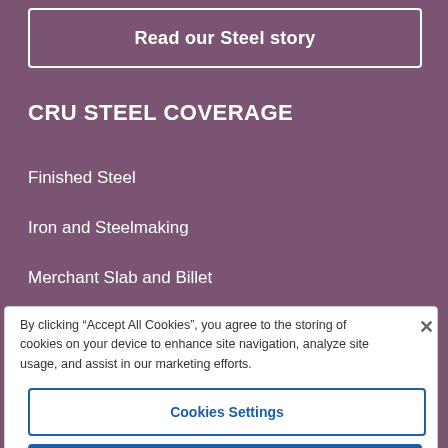Read our Steel story
CRU STEEL COVERAGE
Finished Steel
Iron and Steelmaking
Merchant Slab and Billet
By clicking “Accept All Cookies”, you agree to the storing of cookies on your device to enhance site navigation, analyze site usage, and assist in our marketing efforts.
Cookies Settings
Reject All
Accept All Cookies